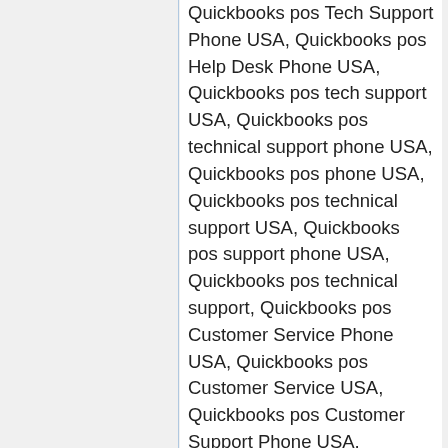Quickbooks pos Tech Support Phone USA, Quickbooks pos Help Desk Phone USA, Quickbooks pos tech support USA, Quickbooks pos technical support phone USA, Quickbooks pos phone USA, Quickbooks pos technical support USA, Quickbooks pos support phone USA, Quickbooks pos technical support, Quickbooks pos Customer Service Phone USA, Quickbooks pos Customer Service USA, Quickbooks pos Customer Support Phone USA, Quickbooks pos Customer Support USA, Quickbooks pos Customer Service Helpline USA, Quickbooks pos Customer Care USA, Quickbooks pos support team phone USA, Quickbooks pos help USA- Quickbooks pos Helpline USA; Quickbooks pos help phone USA, Quickbooks pos Helpline USA,